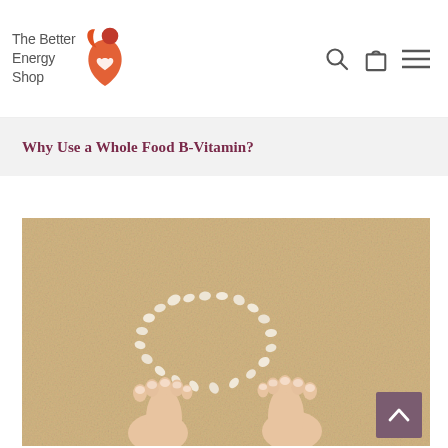The Better Energy Shop
Why Use a Whole Food B-Vitamin?
[Figure (photo): Person's bare feet standing on sand with a heart shape made of small white stones/shells in the sand around them.]